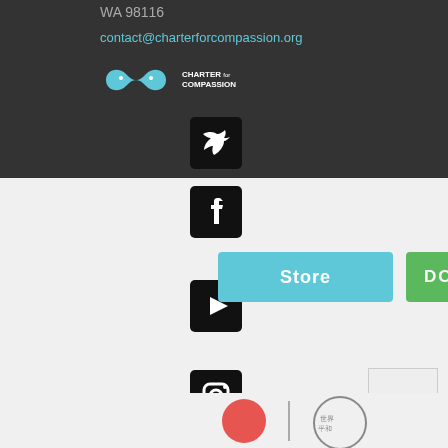WA 98116
contact@charterforcompassion.org
[Figure (logo): Charter for Compassion logo with infinity symbol in teal and text]
[Figure (infographic): Social media icons: Twitter, Facebook, YouTube, Instagram, Pinterest, Tumblr arranged vertically]
[Figure (other): Store button (teal) and DONATE button (green)]
Make sure you're following us on social media and seeing our posts!
[Figure (other): Back to top arrow button (chevron up) in bottom right corner]
[Figure (logo): Footer logos partially visible at bottom of page]